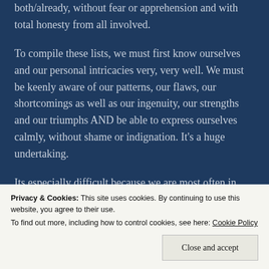both/already, without fear or apprehension and with total honesty from all involved.
To compile these lists, we must first know ourselves and our personal intricacies very, very well. We must be keenly aware of our patterns, our flaws, our shortcomings as well as our ingenuity, our strengths and our triumphs AND be able to express ourselves calmly, without shame or indignation. It's a huge undertaking.
Its especially difficult because we are most often in
Privacy & Cookies: This site uses cookies. By continuing to use this website, you agree to their use.
To find out more, including how to control cookies, see here: Cookie Policy